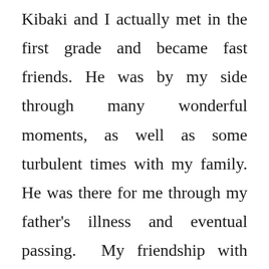Kibaki and I actually met in the first grade and became fast friends. He was by my side through many wonderful moments, as well as some turbulent times with my family. He was there for me through my father's illness and eventual passing. My friendship with Kibaki reminds me of good times in my life, and he remained one of my closest friends for many years. Then, in high school, we lost touch with each other. We were busy